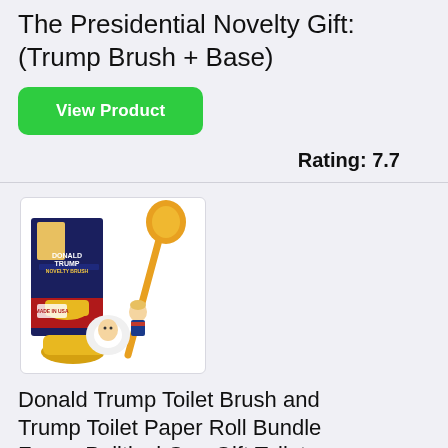The Presidential Novelty Gift: (Trump Brush + Base)
View Product
Rating: 7.7
[Figure (photo): Product photo of a Donald Trump novelty toilet brush set with yellow base, toilet brush with Trump figurine handle, and Trump toilet paper roll, with product box visible in background.]
Donald Trump Toilet Brush and Trump Toilet Paper Roll Bundle Funny Political Gag Gift Toilet